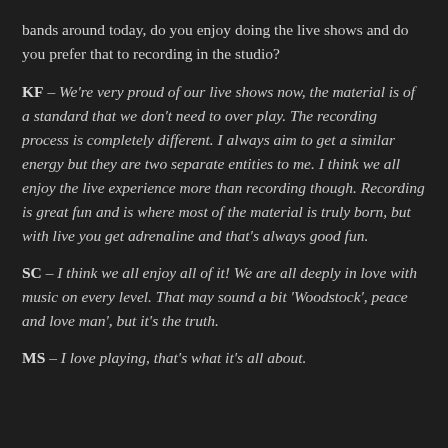bands around today, do you enjoy doing the live shows and do you prefer that to recording in the studio?
KF – We're very proud of our live shows now, the material is of a standard that we don't need to over play. The recording process is completely different. I always aim to get a similar energy but they are two separate entities to me. I think we all enjoy the live experience more than recording though. Recording is great fun and is where most of the material is truly born, but with live you get adrenaline and that's always good fun.
SC – I think we all enjoy all of it! We are all deeply in love with music on every level. That may sound a bit 'Woodstock', peace and love man', but it's the truth.
MS – I love playing, that's what it's all about.